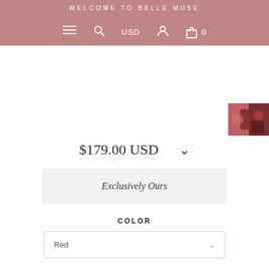WELCOME TO BELLE MUSE
$179.00 USD
Exclusively Ours
COLOR
Red
SIZE
XS
QUANTITY